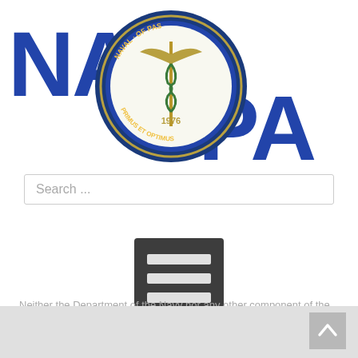[Figure (logo): NAVOPA organization logo with circular Navy medical emblem (caduceus, 1976) in center, flanked by large blue letters 'NA' on left and 'PA' on right]
[Figure (other): Search input field with placeholder text 'Search ...']
[Figure (other): Dark gray hamburger/menu icon button with three horizontal lines]
Neither the Department of the Navy nor any other component of the Department of Defense has approved, endorsed, or authorized this website or any contents published on or linked to from it.
[Figure (other): Scroll-to-top button (gray square with upward chevron) at bottom right]